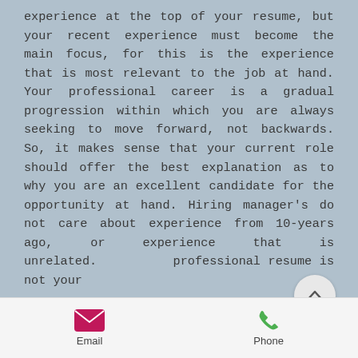experience at the top of your resume, but your recent experience must become the main focus, for this is the experience that is most relevant to the job at hand. Your professional career is a gradual progression within which you are always seeking to move forward, not backwards. So, it makes sense that your current role should offer the best explanation as to why you are an excellent candidate for the opportunity at hand. Hiring manager's do not care about experience from 10-years ago, or experience that is unrelated. Your professional resume is not your
[Figure (other): Circular scroll-to-top button with upward chevron arrow]
Email   Phone